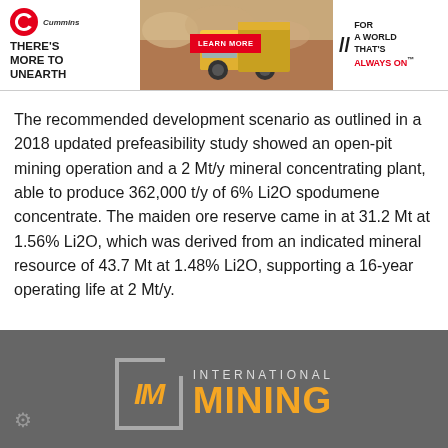[Figure (illustration): Cummins advertisement banner: 'There's More to Unearth' with a large mining truck and tagline 'For a World That's Always On']
The recommended development scenario as outlined in a 2018 updated prefeasibility study showed an open-pit mining operation and a 2 Mt/y mineral concentrating plant, able to produce 362,000 t/y of 6% Li2O spodumene concentrate. The maiden ore reserve came in at 31.2 Mt at 1.56% Li2O, which was derived from an indicated mineral resource of 43.7 Mt at 1.48% Li2O, supporting a 16-year operating life at 2 Mt/y.
[Figure (logo): International Mining logo with orange IM letters in a bordered box and 'INTERNATIONAL MINING' text in orange on dark gray background]